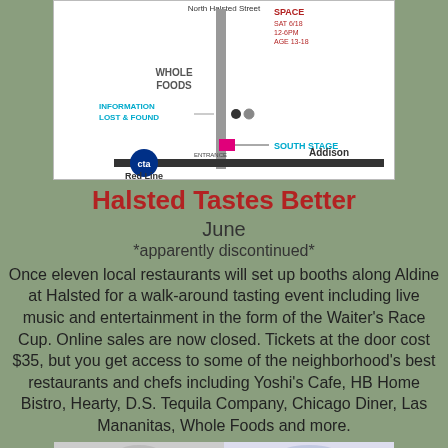[Figure (map): Street map showing North Halsted Street with Whole Foods, Information Lost & Found, South Stage, CTA Red Line, Addison stop, entrance, and event space details (SAT 6/18, 12-6PM, AGE 13-18)]
Halsted Tastes Better
June
*apparently discontinued*
Once eleven local restaurants will set up booths along Aldine at Halsted for a walk-around tasting event including live music and entertainment in the form of the Waiter's Race Cup. Online sales are now closed. Tickets at the door cost $35, but you get access to some of the neighborhood's best restaurants and chefs including Yoshi's Cafe, HB Home Bistro, Hearty, D.S. Tequila Company, Chicago Diner, Las Mananitas, Whole Foods and more.
[Figure (photo): Partial photo at bottom of page, people at an event]